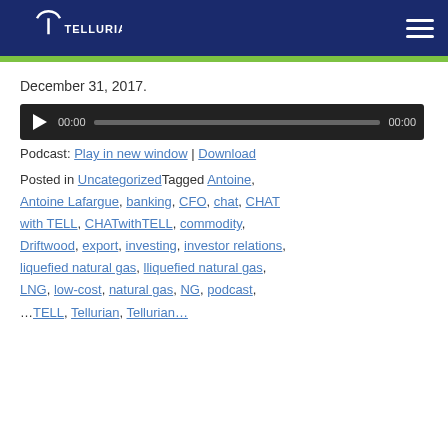Tellurian — website header with logo and navigation
December 31, 2017.
[Figure (other): Audio player bar with play button, time display 00:00, progress slider, and end time 00:00]
Podcast: Play in new window | Download
Posted in Uncategorized Tagged Antoine, Antoine Lafargue, banking, CFO, chat, CHAT with TELL, CHATwithTELL, commodity, Driftwood, export, investing, investor relations, liquefied natural gas, lliquefied natural gas, LNG, low-cost, natural gas, NG, podcast, ...TELL, Tellurian, Tellurian...